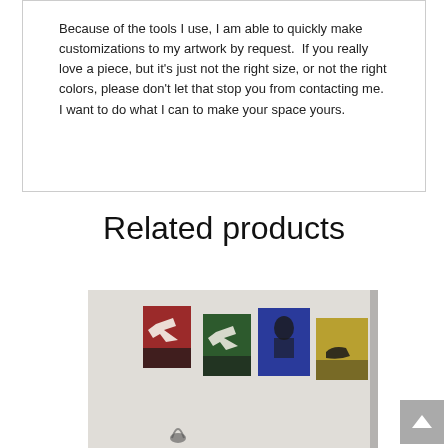Because of the tools I use, I am able to quickly make customizations to my artwork by request.  If you really love a piece, but it's just not the right size, or not the right colors, please don't let that stop you from contacting me.  I want to do what I can to make your space yours.
Related products
[Figure (photo): Photo of four colorful art panels mounted on a white wall. Panels feature silhouetted figures/animals on red, green, blue, and gold/yellow backgrounds. A small sculpture or figure is visible at the bottom. A scroll-to-top button with an up arrow is visible at bottom right.]